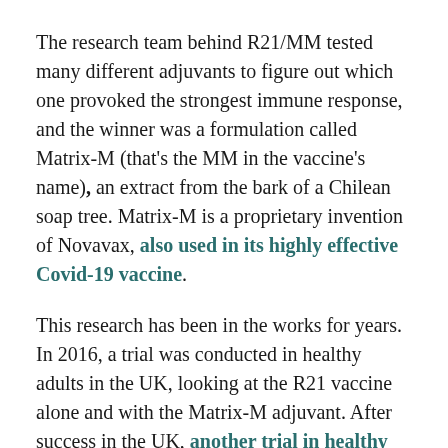The research team behind R21/MM tested many different adjuvants to figure out which one provoked the strongest immune response, and the winner was a formulation called Matrix-M (that's the MM in the vaccine's name), an extract from the bark of a Chilean soap tree. Matrix-M is a proprietary invention of Novavax, also used in its highly effective Covid-19 vaccine.
This research has been in the works for years. In 2016, a trial was conducted in healthy adults in the UK, looking at the R21 vaccine alone and with the Matrix-M adjuvant. After success in the UK, another trial in healthy adults followed — this time in Burkina Faso, where malaria is endemic.
RELATED